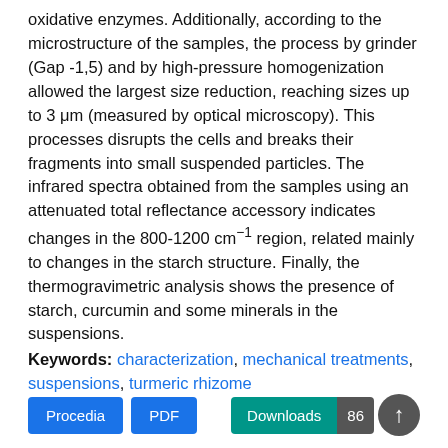oxidative enzymes. Additionally, according to the microstructure of the samples, the process by grinder (Gap -1,5) and by high-pressure homogenization allowed the largest size reduction, reaching sizes up to 3 μm (measured by optical microscopy). This processes disrupts the cells and breaks their fragments into small suspended particles. The infrared spectra obtained from the samples using an attenuated total reflectance accessory indicates changes in the 800-1200 cm⁻¹ region, related mainly to changes in the starch structure. Finally, the thermogravimetric analysis shows the presence of starch, curcumin and some minerals in the suspensions.
Keywords: characterization, mechanical treatments, suspensions, turmeric rhizome
[Figure (other): Buttons row: Procedia (blue), PDF (blue), Downloads 86 (teal) with up-arrow circle icon]